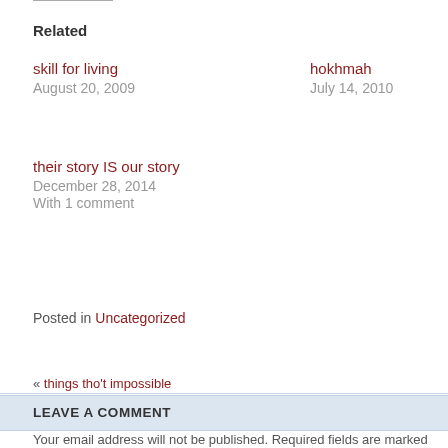Related
skill for living
August 20, 2009
hokhmah
July 14, 2010
their story IS our story
December 28, 2014
With 1 comment
Posted in Uncategorized
« things tho't impossible
LEAVE A COMMENT
Your email address will not be published. Required fields are marked *